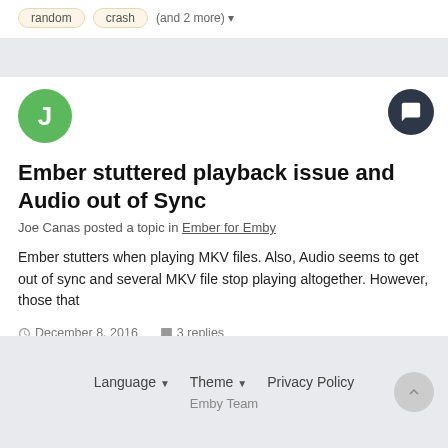random   crash   (and 2 more)
[Figure (illustration): Green circular avatar with letter J, and dark circular reply icon on the right]
Ember stuttered playback issue and Audio out of Sync
Joe Canas posted a topic in Ember for Emby
Ember stutters when playing MKV files. Also, Audio seems to get out of sync and several MKV file stop playing altogether. However, those that
December 8, 2016   3 replies
Ember   stutter   (and 3 more)
Language  Theme  Privacy Policy
Emby Team